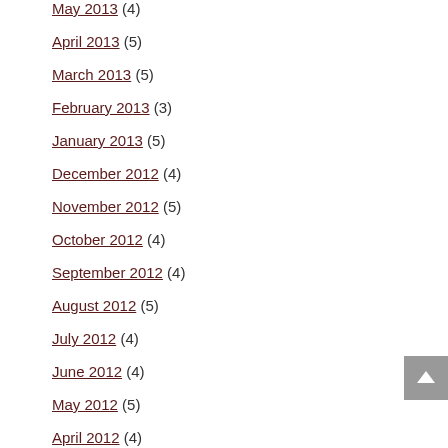May 2013 (4)
April 2013 (5)
March 2013 (5)
February 2013 (3)
January 2013 (5)
December 2012 (4)
November 2012 (5)
October 2012 (4)
September 2012 (4)
August 2012 (5)
July 2012 (4)
June 2012 (4)
May 2012 (5)
April 2012 (4)
March 2012 (5)